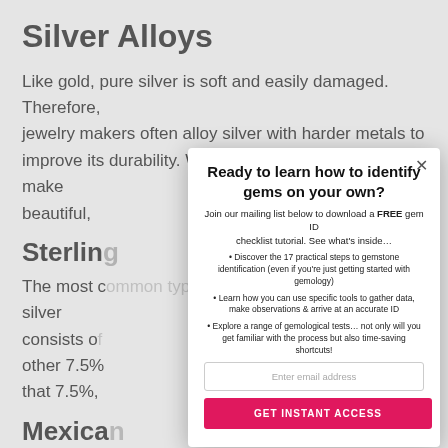Silver Alloys
Like gold, pure silver is soft and easily damaged. Therefore, jewelry makers often alloy silver with harder metals to improve its durability. With silver alloys, they can make beautiful,
Sterling
The most common type of sterling silver is ster ling silver consists of the other 7.5% that 7.5%,
Mexica
The term “ ... rrency in Mexica
[Figure (screenshot): Modal popup overlay with title 'Ready to learn how to identify gems on your own?', subtitle text about joining mailing list to download a FREE gem ID checklist tutorial, three bullet points about gemstone identification steps, an email input field, and a pink 'GET INSTANT ACCESS' button.]